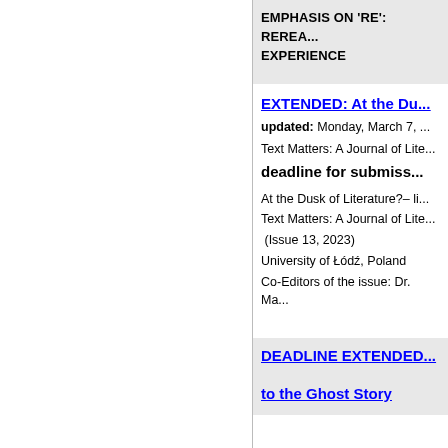EMPHASIS ON 'RE': REREA... EXPERIENCE
EXTENDED: At the Du...
updated: Monday, March 7, ...
Text Matters: A Journal of Lite...
deadline for submiss...
At the Dusk of Literature?-- li...
Text Matters: A Journal of Lite...
(Issue 13, 2023)
University of Łódź, Poland
Co-Editors of the issue: Dr. Ma...
DEADLINE EXTENDED...
to the Ghost Story